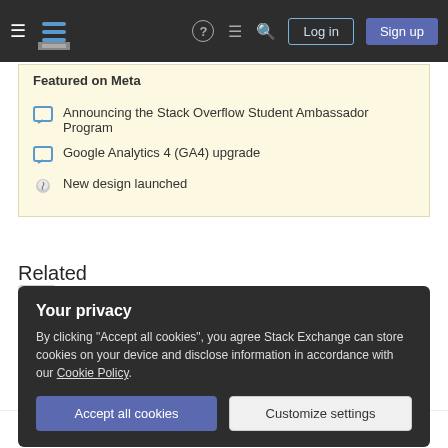Stack Overflow navigation bar with Log in and Sign up buttons
Featured on Meta
Announcing the Stack Overflow Student Ambassador Program
Google Analytics 4 (GA4) upgrade
New design launched
Related
2 How do I deal with non-IID data in gradient boosted random forest (for stock market)?
Your privacy
By clicking "Accept all cookies", you agree Stack Exchange can store cookies on your device and disclose information in accordance with our Cookie Policy.
5 convert predict_proba results using class_weight in training